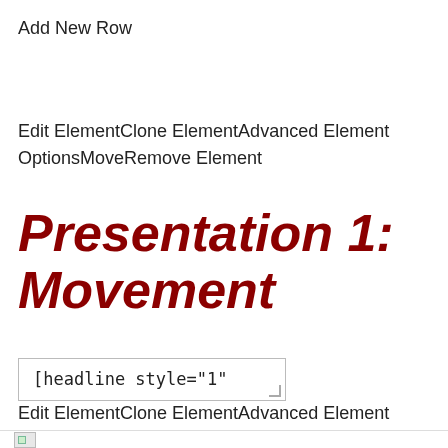Add New Row
Edit ElementClone ElementAdvanced Element OptionsMoveRemove Element
Presentation 1: Movement
[headline style="1"
Edit ElementClone ElementAdvanced Element OptionsMoveRemove Element
[Figure (other): Broken image placeholder at bottom of page]